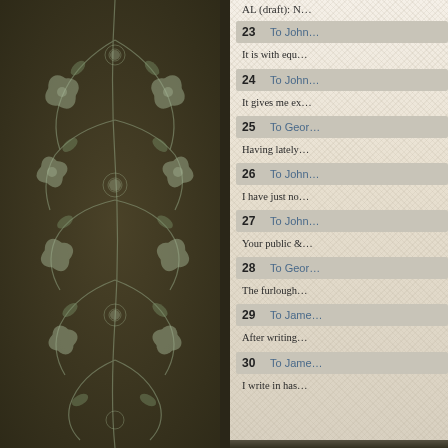[Figure (illustration): Dark olive/brown decorative floral damask pattern panel on left side of page]
AL (draft): N…
23  To John … — It is with equ…
24  To John … — It gives me ex…
25  To Geor… — Having lately…
26  To John … — I have just no…
27  To John … — Your public &…
28  To Geor… — The furlough…
29  To Jame… — After writing…
30  To Jame… — I write in has…